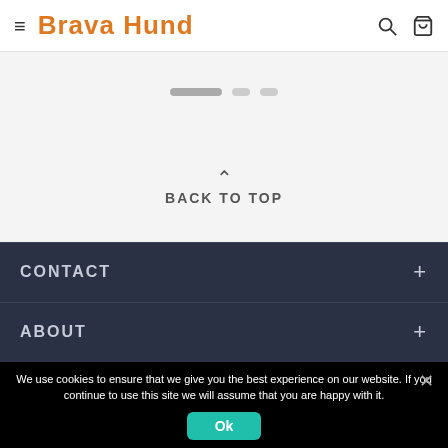Brava Hund
[Figure (infographic): Slider pagination dots: one long pill and two short pills]
BACK TO TOP
CONTACT
ABOUT
We use cookies to ensure that we give you the best experience on our website. If you continue to use this site we will assume that you are happy with it.